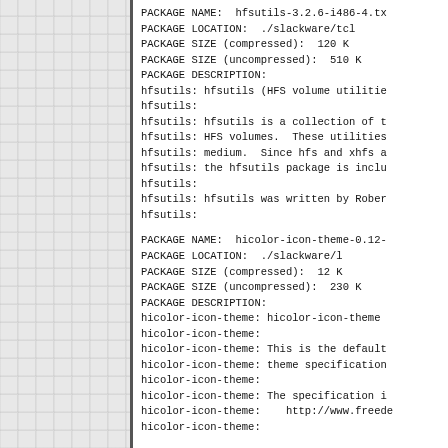[Figure (other): Left panel showing a faded grid/watermark background with text fragments]
PACKAGE NAME:  hfsutils-3.2.6-i486-4.tx
PACKAGE LOCATION:  ./slackware/tcl
PACKAGE SIZE (compressed):  120 K
PACKAGE SIZE (uncompressed):  510 K
PACKAGE DESCRIPTION:
hfsutils: hfsutils (HFS volume utilitie
hfsutils:
hfsutils: hfsutils is a collection of t
hfsutils: HFS volumes.  These utilities
hfsutils: medium.  Since hfs and xhfs a
hfsutils: the hfsutils package is inclu
hfsutils:
hfsutils: hfsutils was written by Rober
hfsutils:
PACKAGE NAME:  hicolor-icon-theme-0.12-
PACKAGE LOCATION:  ./slackware/l
PACKAGE SIZE (compressed):  12 K
PACKAGE SIZE (uncompressed):  230 K
PACKAGE DESCRIPTION:
hicolor-icon-theme: hicolor-icon-theme
hicolor-icon-theme:
hicolor-icon-theme: This is the default
hicolor-icon-theme: theme specification
hicolor-icon-theme:
hicolor-icon-theme: The specification i
hicolor-icon-theme:    http://www.freede
hicolor-icon-theme:
PACKAGE NAME:  ...